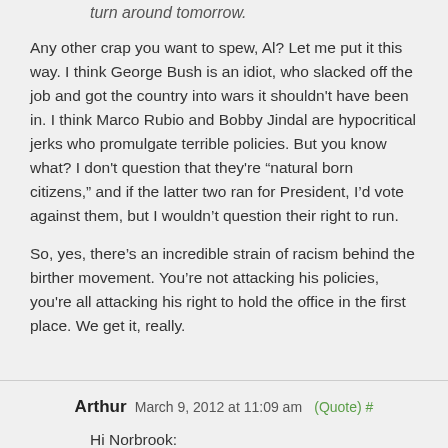turn around tomorrow.
Any other crap you want to spew, Al? Let me put it this way. I think George Bush is an idiot, who slacked off the job and got the country into wars it shouldn't have been in. I think Marco Rubio and Bobby Jindal are hypocritical jerks who promulgate terrible policies. But you know what? I don't question that they're “natural born citizens,” and if the latter two ran for President, I’d vote against them, but I wouldn’t question their right to run.
So, yes, there’s an incredible strain of racism behind the birther movement. You’re not attacking his policies, you're all attacking his right to hold the office in the first place. We get it, really.
Arthur March 9, 2012 at 11:09 am (Quote) #
Hi Norbrook:
I just visited your blog and I enjoyed reading your posts. I